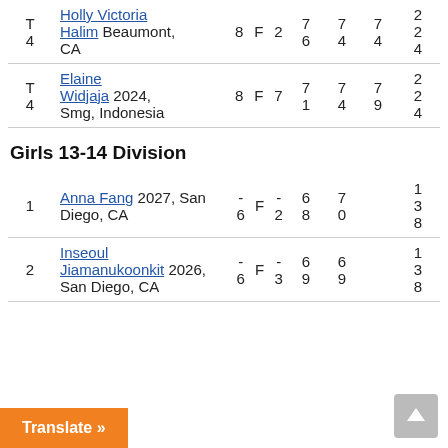| Place | Name / Location | Ent | Div | Score | R1 | R2 | R3 | Total |
| --- | --- | --- | --- | --- | --- | --- | --- | --- |
| T 4 | Holly Victoria Halim  Beaumont, CA | 8 | F | 2 | 7 6 | 7 4 | 7 4 | 2 2 4 |
| T 4 | Elaine Widjaja  2024, Smg, Indonesia | 8 | F | 7 | 7 1 | 7 4 | 7 9 | 2 2 4 |
Girls 13-14 Division
| Place | Name / Location | Ent | Div | Score | R1 | R2 | R3 | Total |
| --- | --- | --- | --- | --- | --- | --- | --- | --- |
| 1 | Anna Fang  2027, San Diego, CA | -6 | F | -2 | 6 8 | 7 0 |  | 1 3 8 |
| 2 | Inseoul Jiamanukoonkit  2026, San Diego, CA | -6 | F | -3 | 6 9 | 6 9 |  | 1 3 8 |